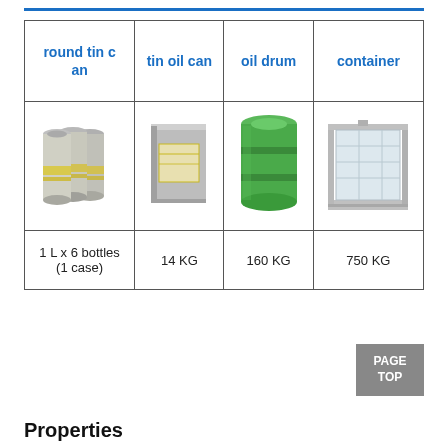| round tin can | tin oil can | oil drum | container |
| --- | --- | --- | --- |
| [image: round tin cans] | [image: tin oil can] | [image: oil drum] | [image: container] |
| 1 L x 6 bottles
(1 case) | 14 KG | 160 KG | 750 KG |
PAGE TOP
Properties